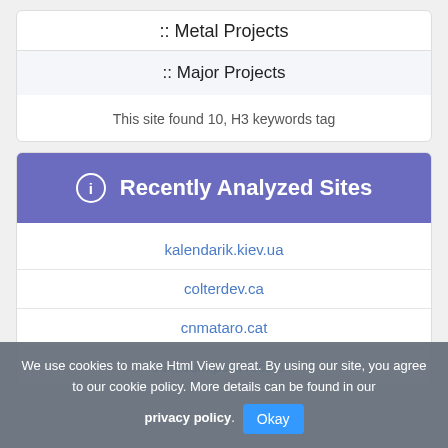:: Metal Projects
:: Major Projects
This site found 10, H3 keywords tag
Recently Analyzed Sites
kalendarik.kiev.ua
colterdev.ca
cnmataro.cat
We use cookies to make Html View great. By using our site, you agree to our cookie policy. More details can be found in our privacy policy. Okay